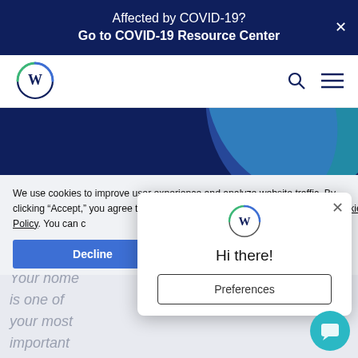Affected by COVID-19?
Go to COVID-19 Resource Center
[Figure (logo): W logo circle with blue and green ring, navbar with search and menu icons]
[Figure (illustration): Dark navy hero banner with teal/blue diagonal swoosh graphic]
We use cookies to improve user experience and analyze website traffic. By clicking “Accept,” you agree to our website’s cookie use as described in our Cookie Policy. You can change your cookie settings at any time by clicking “Preferences.”
Decline
Accept
[Figure (screenshot): Chat widget popup with W logo, Hi there! greeting, close X button, and Preferences button]
Your home is one of your most important